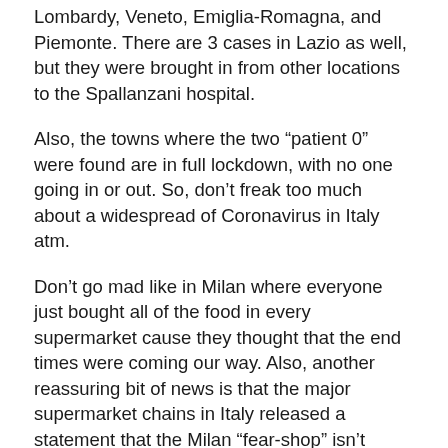Lombardy, Veneto, Emiglia-Romagna, and Piemonte. There are 3 cases in Lazio as well, but they were brought in from other locations to the Spallanzani hospital.
Also, the towns where the two “patient 0” were found are in full lockdown, with no one going in or out. So, don’t freak too much about a widespread of Coronavirus in Italy atm.
Don’t go mad like in Milan where everyone just bought all of the food in every supermarket cause they thought that the end times were coming our way. Also, another reassuring bit of news is that the major supermarket chains in Italy released a statement that the Milan “fear-shop” isn’t going to affect supplies.
Also, the risk of developing a strong infection